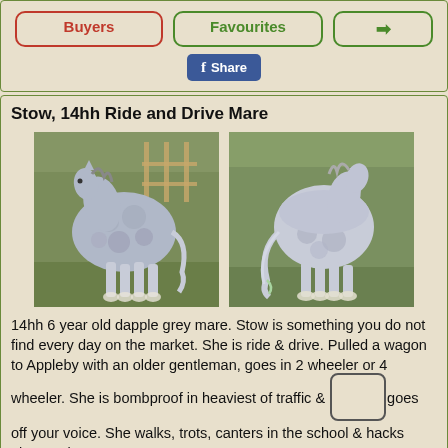Buyers | Favourites | → | Share
Stow, 14hh Ride and Drive Mare
[Figure (photo): Two photos of a dapple grey cob/gypsy horse mare side by side on grass]
14hh 6 year old dapple grey mare. Stow is something you do not find every day on the market. She is ride & drive. Pulled a wagon to Appleby with an older gentleman, goes in 2 wheeler or 4 wheeler. She is bombproof in heaviest of traffic & goes off your voice. She walks, trots, canters in the school & hacks alone or in company.
Passported with TGCA society & shod up ready for the